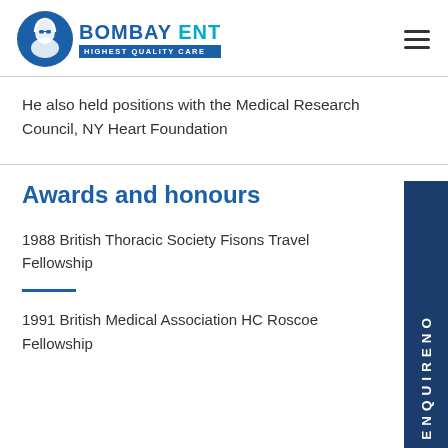[Figure (logo): Bombay ENT logo with stylized head figure and tagline 'HIGHEST QUALITY CARE']
He also held positions with the Medical Research Council, NY Heart Foundation
Awards and honours
1988 British Thoracic Society Fisons Travel Fellowship
1991 British Medical Association HC Roscoe Fellowship